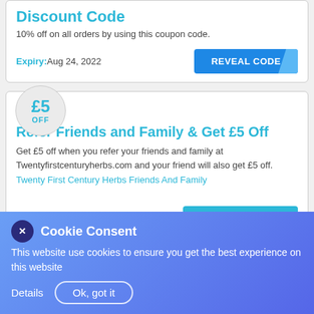Discount Code
10% off on all orders by using this coupon code.
Expiry: Aug 24, 2022
Refer Friends and Family & Get £5 Off
Get £5 off when you refer your friends and family at Twentyfirstcenturyherbs.com and your friend will also get £5 off.
Twenty First Century Herbs Friends And Family
Expiry: On Going
Cookie Consent
This website use cookies to ensure you get the best experience on this website